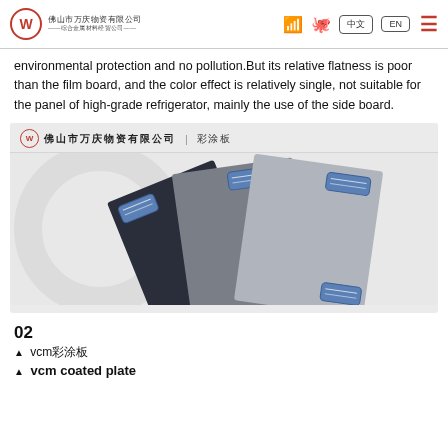佛山市万庆物资有限公司 | 综合金属材料经贸公司
environmental protection and no pollution.But its relative flatness is poor than the film board, and the color effect is relatively single, not suitable for the panel of high-grade refrigerator, mainly the use of the side board.
[Figure (photo): Product image showing multiple color-coated steel panels (彩涂板) in dark navy, medium gray, and light gray colors fanned out, with blue label tags on each. Company logo and name '佛山市万庆物资有限公司 | 彩涂板' shown at top of image.]
02
▲ vcm彩涂板
▲ vcm coated plate